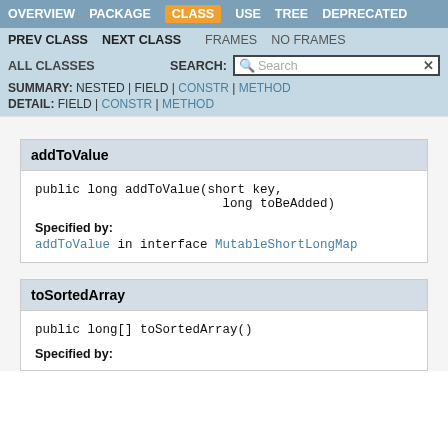OVERVIEW  PACKAGE  CLASS  USE  TREE  DEPRECATED
PREV CLASS  NEXT CLASS  FRAMES  NO FRAMES
ALL CLASSES  SEARCH:
SUMMARY: NESTED | FIELD | CONSTR | METHOD  DETAIL: FIELD | CONSTR | METHOD
addToValue
public long addToValue(short key,
                         long toBeAdded)
Specified by:
addToValue in interface MutableShortLongMap
toSortedArray
public long[] toSortedArray()
Specified by: